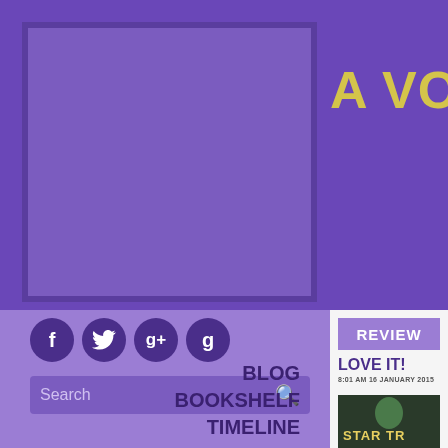[Figure (screenshot): Purple website header with book cover placeholder box]
A VO
[Figure (other): Social media icons: Facebook, Twitter, Google+, Goodreads]
[Figure (other): Search bar with magnifying glass icon]
REVIEW
LOVE IT!
8:01 AM 16 JANUARY 2015
[Figure (photo): Star Trek book cover thumbnail]
BLOG
BOOKSHELF
TIMELINE